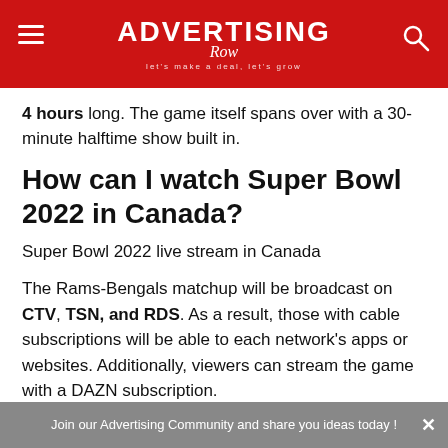Advertising Row
4 hours long. The game itself spans over with a 30-minute halftime show built in.
How can I watch Super Bowl 2022 in Canada?
Super Bowl 2022 live stream in Canada
The Rams-Bengals matchup will be broadcast on CTV, TSN, and RDS. As a result, those with cable subscriptions will be able to each network's apps or websites. Additionally, viewers can stream the game with a DAZN subscription.
Join our Advertising Community and share you ideas today !